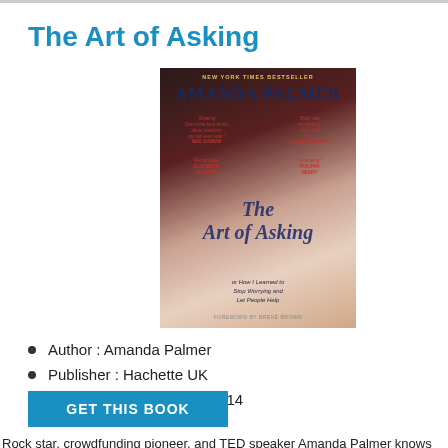The Art of Asking
[Figure (photo): Book cover of 'The Art of Asking' by Amanda Palmer — New York Times Bestseller. Shows a woman with red hair looking upward, with 'THE ART OF ASKING' written on her body, subtitle 'or How I Learned to Stop Worrying and Let People Help', foreword by Brené Brown.]
Author : Amanda Palmer
Publisher : Hachette UK
Release : 11 November 2014
GET THIS BOOK
Rock star, crowdfunding pioneer, and TED speaker Amanda Palmer knows all about asking. Performing as a living statue in a wedding dress,